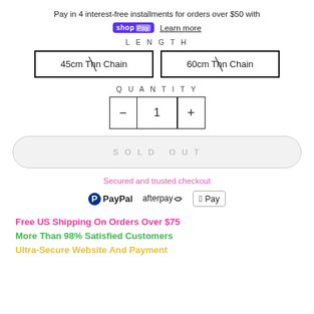Pay in 4 interest-free installments for orders over $50 with shop Pay  Learn more
LENGTH
45cm Thin Chain
60cm Thin Chain
QUANTITY
- 1 +
SOLD OUT
Secured and trusted checkout
[Figure (logo): PayPal, Afterpay, and Apple Pay payment icons]
Free US Shipping On Orders Over $75
More Than 98% Satisfied Customers
Ultra-Secure Website And Payment